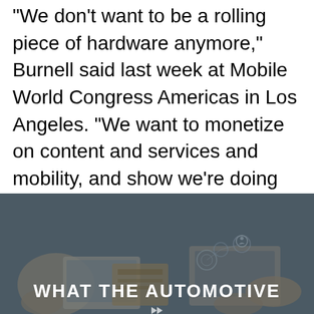"We don't want to be a rolling piece of hardware anymore," Burnell said last week at Mobile World Congress Americas in Los Angeles. "We want to monetize on content and services and mobility, and show we're doing good things with our users' data."
[Figure (photo): Photo of people working on laptops and tablets from above, with a dark overlay and text 'WHAT THE AUTOMOTIVE' visible at the bottom]